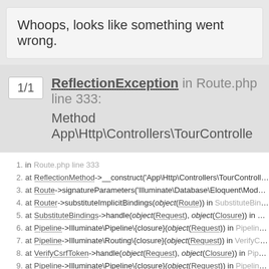Whoops, looks like something went wrong.
1/1  ReflectionException in Route.php line 333:
Method App\Http\Controllers\TourController
1. in Route.php line 333
2. at ReflectionMethod->__construct('App\Http\Controllers\TourController',
3. at Route->signatureParameters('Illuminate\Database\Eloquent\Model') i
4. at Router->substituteImplicitBindings(object(Route)) in SubstituteBinding
5. at SubstituteBindings->handle(object(Request), object(Closure)) in Pipeli
6. at Pipeline->Illuminate\Pipeline\{closure}(object(Request)) in Pipeline.ph
7. at Pipeline->Illuminate\Routing\{closure}(object(Request)) in VerifyCsrfTo
8. at VerifyCsrfToken->handle(object(Request), object(Closure)) in Pipeline
9. at Pipeline->Illuminate\Pipeline\{closure}(object(Request)) in Pipeline.ph
10. at Pipeline->Illuminate\Routing\{closure}(object(Request)) in ShareErrors
11. at ShareErrorsFromSession->handle(object(Request), object(Closure)) i
12. at Pipeline->Illuminate\Pipeline\{closure}(object(Request)) in Pipeline.ph
13. at Pipeline->Illuminate\Routing\{closure}(object(Request)) in StartSession
14. at StartSession->handle(object(Request), object(Closure)) in Pipeline